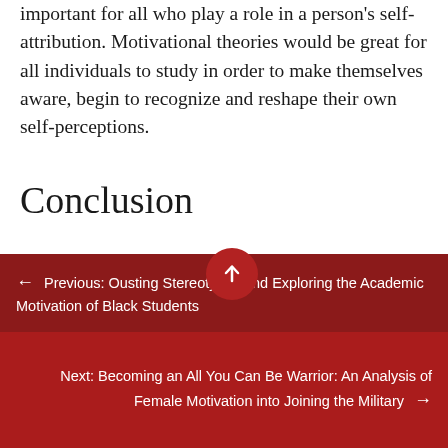important for all who play a role in a person's self-attribution. Motivational theories would be great for all individuals to study in order to make themselves aware, begin to recognize and reshape their own self-perceptions.
Conclusion
Atkinson, Bandura, Rotter, and Weiner all highlight the importance of self-perception in
← Previous: Ousting Stereotypes and Exploring the Academic Motivation of Black Students
Next: Becoming an All You Can Be Warrior: An Analysis of Female Motivation into Joining the Military →